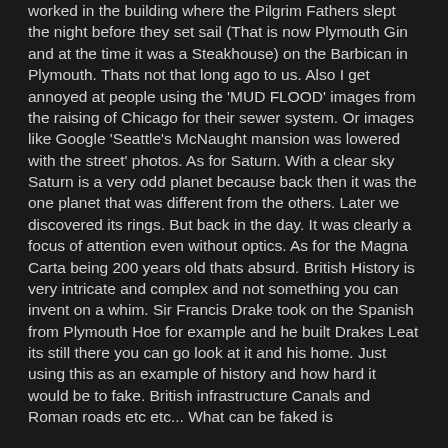worked in the building where the Pilgrim Fathers slept the night before they set sail (That is now Plymouth Gin and at the time it was a Steakhouse) on the Barbican in Plymouth. Thats not that long ago to us. Also I get annoyed at people using the 'MUD FLOOD' images from the raising of Chicago for their sewer system. Or images like Google 'Seattle's McNaught mansion was lowered with the street' photos. As for Saturn. With a clear sky Saturn is a very odd planet because back then it was the one planet that was different from the others. Later we discovered its rings. But back in the day. It was clearly a focus of attention even without optics. As for the Magna Carta being 200 years old thats absurd. British History is very intricate and complex and not something you can invent on a whim. Sir Francis Drake took on the Spanish from Plymouth Hoe for example and he built Drakes Leat its still there you can go look at it and his home. Just using this as an example of history and how hard it would be to fake. British infrastructure Canals and Roman roads etc etc... What can be faked is